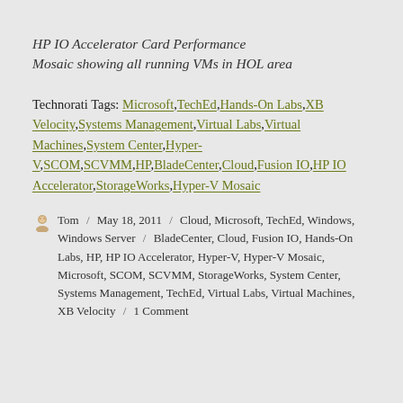HP IO Accelerator Card Performance
Mosaic showing all running VMs in HOL area
Technorati Tags: Microsoft,TechEd,Hands-On Labs,XB Velocity,Systems Management,Virtual Labs,Virtual Machines,System Center,Hyper-V,SCOM,SCVMM,HP,BladeCenter,Cloud,Fusion IO,HP IO Accelerator,StorageWorks,Hyper-V Mosaic
Tom / May 18, 2011 / Cloud, Microsoft, TechEd, Windows, Windows Server / BladeCenter, Cloud, Fusion IO, Hands-On Labs, HP, HP IO Accelerator, Hyper-V, Hyper-V Mosaic, Microsoft, SCOM, SCVMM, StorageWorks, System Center, Systems Management, TechEd, Virtual Labs, Virtual Machines, XB Velocity / 1 Comment